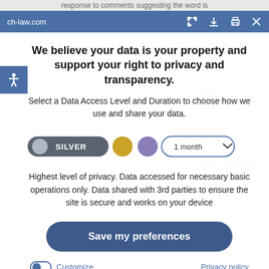response to comments suggesting the word is
ch-law.com
We believe your data is your property and support your right to privacy and transparency.
Select a Data Access Level and Duration to choose how we use and share your data.
[Figure (infographic): Privacy level selector with SILVER button (dark grey with grey circle), gold circle, purple circle, and '1 month' dropdown. Accessibility icon on left.]
Highest level of privacy. Data accessed for necessary basic operations only. Data shared with 3rd parties to ensure the site is secure and works on your device
Save my preferences
Customize   Privacy policy